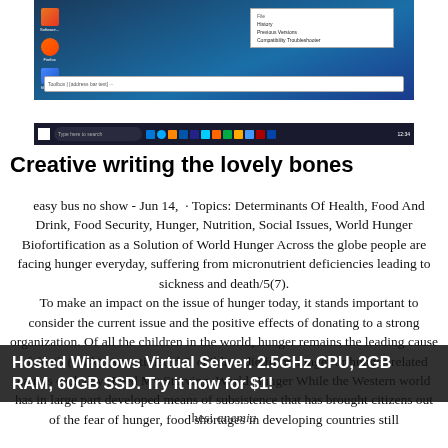[Figure (screenshot): Windows desktop screenshot showing taskbar, desktop icons, a browser popup menu, and an address bar]
Creative writing the lovely bones
easy bus no show - Jun 14,  · Topics: Determinants Of Health, Food And Drink, Food Security, Hunger, Nutrition, Social Issues, World Hunger Biofortification as a Solution of World Hunger Across the globe people are facing hunger everyday, suffering from micronutrient deficiencies leading to sickness and death/5(7). To make an impact on the issue of hunger today, it stands important to consider the current issue and the positive effects of donating to a strong organization. Of all the children in the world, hunger remains the leading cause of death (Turk). An estimated 6, children die from hunger or hunger-related causes each day (Feed My Starving. World Hunger While the Western world has in large part developed means of subsistence that has brought citizens out of the fear of hunger, food shortages in developing countries still
Hosted Windows Virtual Server. 2.5GHz CPU, 2GB RAM, 60GB SSD. Try it now for $1!
hesi anemia